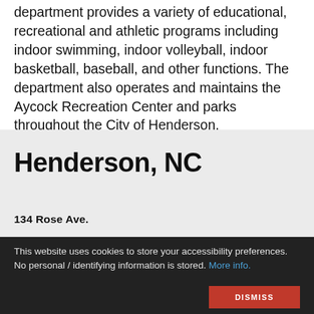department provides a variety of educational, recreational and athletic programs including indoor swimming, indoor volleyball, indoor basketball, baseball, and other functions. The department also operates and maintains the Aycock Recreation Center and parks throughout the City of Henderson.
Henderson, NC
134 Rose Ave.
This website uses cookies to store your accessibility preferences. No personal / identifying information is stored. More info.
DISMISS